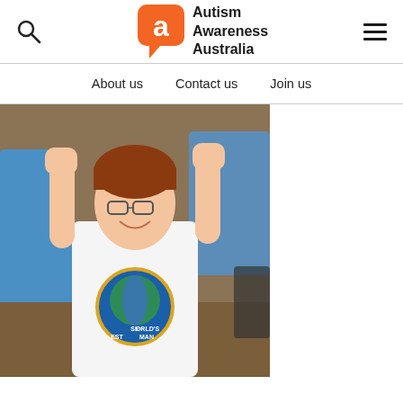Autism Awareness Australia
About us   Contact us   Join us
[Figure (photo): A smiling teenage boy with glasses and red hair wearing a white t-shirt with a 'World's Best Man' logo, raising both fists in a celebratory pose. Other people are visible in the background at what appears to be an outdoor event.]